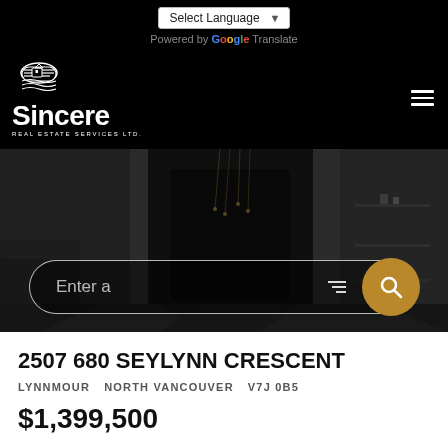Select Language | Powered by Google Translate
[Figure (logo): Sincere Real Estate Services Ltd. logo with white hand/house icon and white text on black background]
[Figure (photo): Dark-toned interior living room with fireplace, modern furniture, and decorative lighting, used as hero background image]
2507 680 SEYLYNN CRESCENT
LYNNMOUR   NORTH VANCOUVER   V7J 0B5
$1,399,500